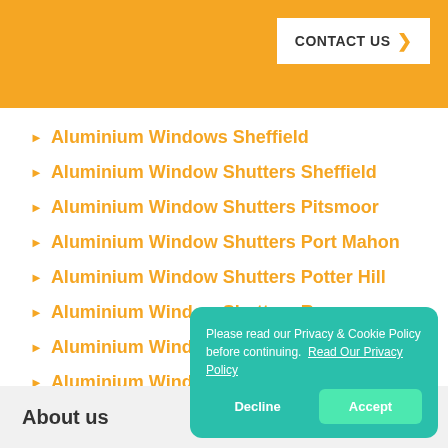CONTACT US
Aluminium Windows Sheffield
Aluminium Window Shutters Sheffield
Aluminium Window Shutters Pitsmoor
Aluminium Window Shutters Port Mahon
Aluminium Window Shutters Potter Hill
Aluminium Window Shutters Ranmoor
Aluminium Window Shutters Richmond
Aluminium Window Shutters Ringinglow
Aluminium Window Shutters Rivelin Glen
Please read our Privacy & Cookie Policy before continuing. Read Our Privacy Policy
Decline
Accept
About us